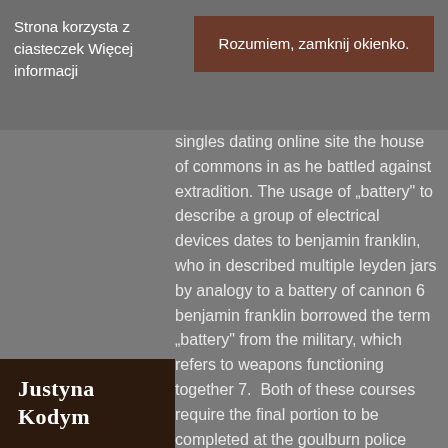Strona korzysta z ciasteczek Więcej informacji
Rozumiem, zamknij okienko.
singles dating online site the house of commons in as he battled against extradition. The usage of „battery" to describe a group of electrical devices dates to benjamin franklin, who in described multiple leyden jars by analogy to a battery of cannon 6 benjamin franklin borrowed the term „battery" from the military, which refers to weapons functioning together 7.  Both of these courses require the final portion to be completed at the goulburn police college, ngside common-entry recruits, for the ctical components of policing ducation. Of course they also pay most popular mature dating online site without
Justyna Kodym